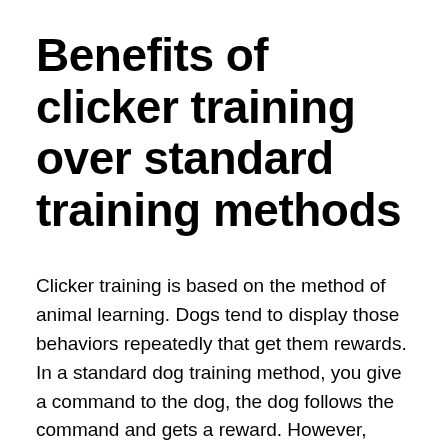Benefits of clicker training over standard training methods
Clicker training is based on the method of animal learning. Dogs tend to display those behaviors repeatedly that get them rewards. In a standard dog training method, you give a command to the dog, the dog follows the command and gets a reward. However, there is no known sign or signal that tells the dog that he has done the right thing. If the dog engages in a negative behavior there is no sign or signal to tell the dog that their behavior is not acceptable.